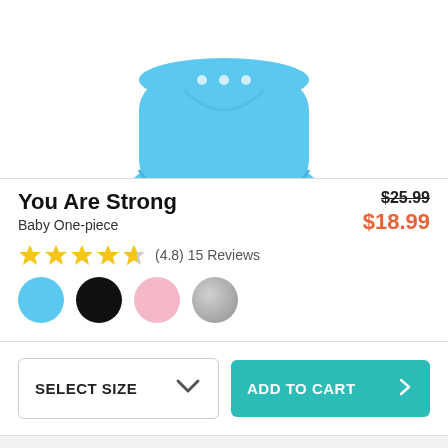[Figure (photo): Blue baby one-piece onesie with snap buttons, shown from below, cropped at top of image]
You Are Strong
Baby One-piece
$25.99 (strikethrough) $18.99
(4.8) 15 Reviews
[Figure (illustration): Four color swatches: light blue, black, pink, gray]
SELECT SIZE
ADD TO CART
Also Available On
[Figure (photo): Thumbnail images of product in other styles, cropped at bottom]